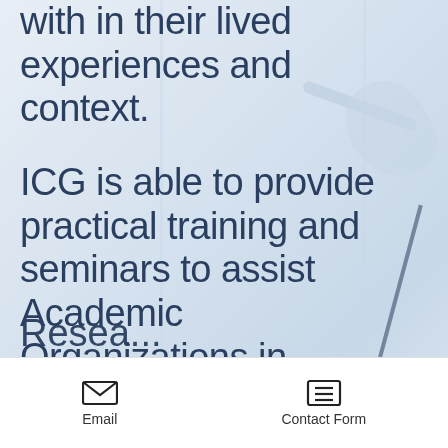with in their lived experiences and context.
ICG is able to provide practical training and seminars to assist Academic Organizations in tackling and understanding topics such as:
[Figure (photo): Interior office/lounge setting with modern furniture including a white arc floor lamp, a light blue chair, and blue sofa. Bright windows in background.]
Resea... (partially visible text at bottom)
Email    Contact Form